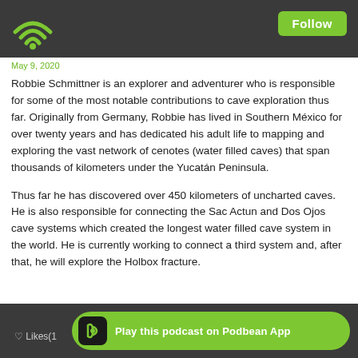May 9, 2020
Robbie Schmittner is an explorer and adventurer who is responsible for some of the most notable contributions to cave exploration thus far. Originally from Germany, Robbie has lived in Southern México for over twenty years and has dedicated his adult life to mapping and exploring the vast network of cenotes (water filled caves) that span thousands of kilometers under the Yucatán Peninsula.
Thus far he has discovered over 450 kilometers of uncharted caves. He is also responsible for connecting the Sac Actun and Dos Ojos cave systems which created the longest water filled cave system in the world. He is currently working to connect a third system and, after that, he will explore the Holbox fracture.
Likes(1   Play this podcast on Podbean App